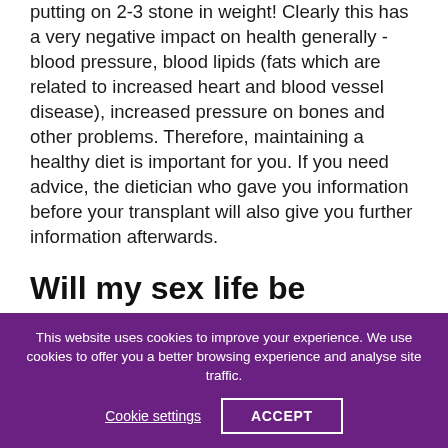putting on 2-3 stone in weight! Clearly this has a very negative impact on health generally - blood pressure, blood lipids (fats which are related to increased heart and blood vessel disease), increased pressure on bones and other problems. Therefore, maintaining a healthy diet is important for you. If you need advice, the dietician who gave you information before your transplant will also give you further information afterwards.
Will my sex life be affected?
Sexual activity is often unsatisfactory when you are on dialysis. After transplantation, as you start to feel better,
This website uses cookies to improve your experience. We use cookies to offer you a better browsing experience and analyse site traffic.